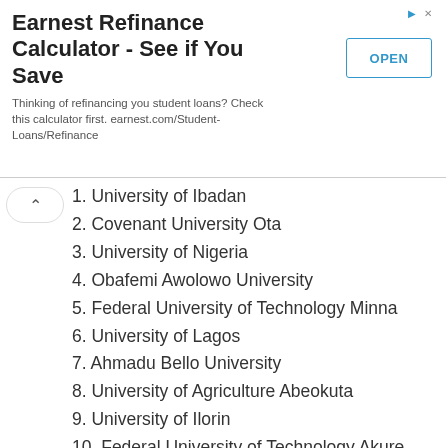[Figure (other): Advertisement banner: Earnest Refinance Calculator - See if You Save. Thinking of refinancing you student loans? Check this calculator first. earnest.com/Student-Loans/Refinance. OPEN button.]
1. University of Ibadan
2. Covenant University Ota
3. University of Nigeria
4. Obafemi Awolowo University
5. Federal University of Technology Minna
6. University of Lagos
7. Ahmadu Bello University
8. University of Agriculture Abeokuta
9. University of Ilorin
10. Federal University of Technology Akure
11. University of Benin
12. University of Port Harcourt
13. Federal University of Technology Owerri
14. Ladoke Akintola University of Technology